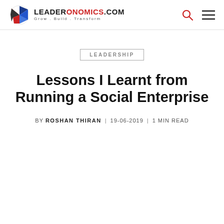LEADERONOMICS.COM | Grow . Build . Transform
LEADERSHIP
Lessons I Learnt from Running a Social Enterprise
BY ROSHAN THIRAN | 19-06-2019 | 1 MIN READ